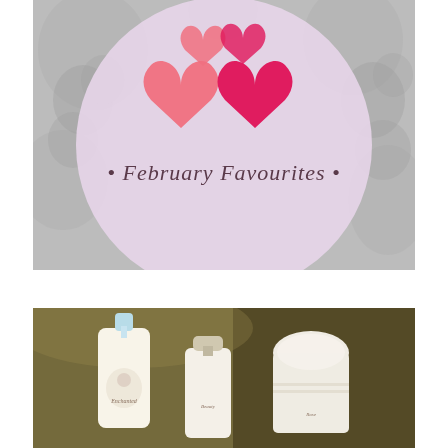[Figure (illustration): February Favourites graphic: grey floral wallpaper background with a large lavender/lilac circle in the center. Inside the circle are two heart shapes (one salmon/coral pink, one deep magenta/pink) and the script text '• February Favourites •' in dark cursive font.]
[Figure (photo): Photo of three beauty/skincare product bottles (travel-size pump dispensers and containers) with cream/white colored liquid products, labeled with rose/flower branding text including 'Enchanted'. Products are sitting on a surface with a warm olive/brown blurred background.]